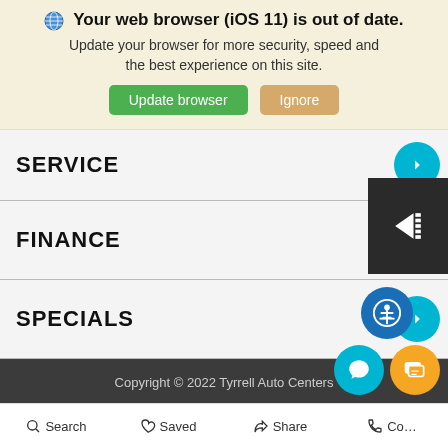Your web browser (iOS 11) is out of date. Update your browser for more security, speed and the best experience on this site.
Update browser | Ignore
SERVICE
FINANCE
SPECIALS
Copyright © 2022 Tyrrell Auto Centers
Privacy Policy | Contact Us | Sitemap
Advanced Automotive Dealer Websites by Dealer Inspire